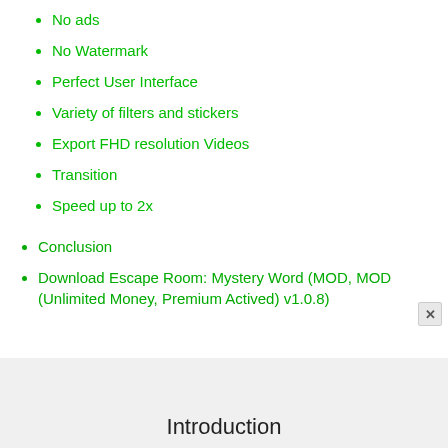No ads
No Watermark
Perfect User Interface
Variety of filters and stickers
Export FHD resolution Videos
Transition
Speed up to 2x
Conclusion
Download Escape Room: Mystery Word (MOD, MOD (Unlimited Money, Premium Actived) v1.0.8)
Introduction